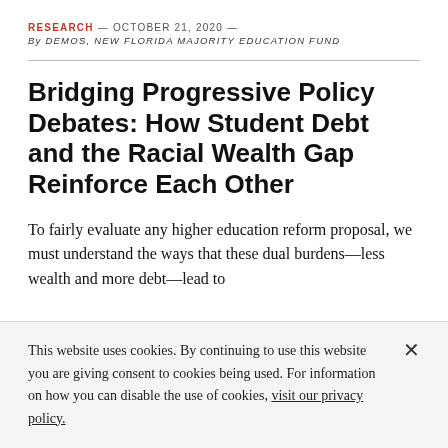RESEARCH — OCTOBER 21, 2020 — By DEMOS, NEW FLORIDA MAJORITY EDUCATION FUND
Bridging Progressive Policy Debates: How Student Debt and the Racial Wealth Gap Reinforce Each Other
To fairly evaluate any higher education reform proposal, we must understand the ways that these dual burdens—less wealth and more debt—lead to
This website uses cookies. By continuing to use this website you are giving consent to cookies being used. For information on how you can disable the use of cookies, visit our privacy policy.